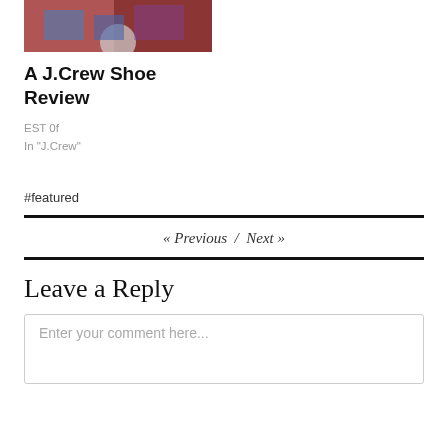[Figure (photo): Partial photo of shoes/clothing with red brick background]
A J.Crew Shoe Review
EST 0f
In "J.Crew"
#featured
« Previous  /  Next »
Leave a Reply
Enter your comment here...